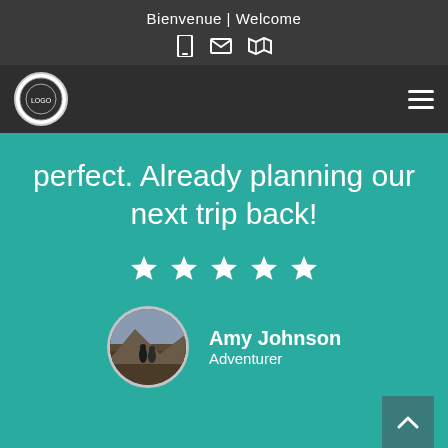Bienvenue | Welcome
[Figure (logo): Circular logo icon in navigation bar]
perfect. Already planning our next trip back!
[Figure (other): Five white star rating icons]
[Figure (photo): Circular profile photo of two people hiking on a mountain trail]
Amy Johnson
Adventurer